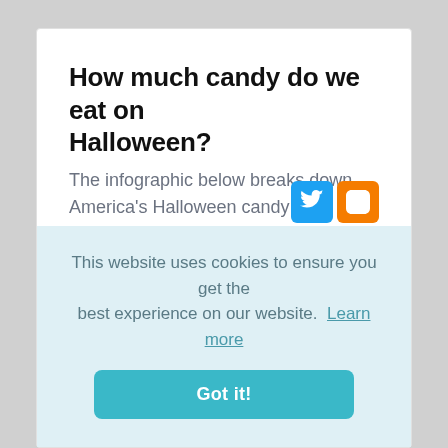How much candy do we eat on Halloween?
[Figure (other): Twitter and Blogger social share icon buttons]
The infographic below breaks down America's Halloween candy consumption to the nitty gritty -- from filling us in on how much candy we eat individually (3.5 pounds)
This website uses cookies to ensure you get the best experience on our website.  Learn more
Got it!